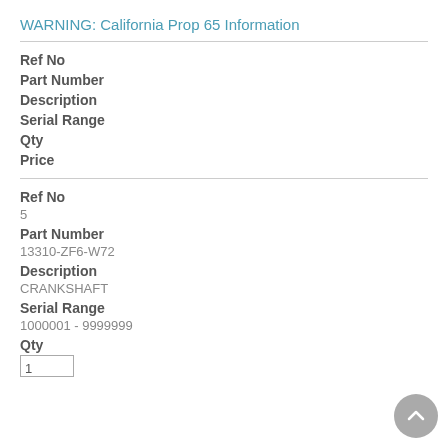WARNING: California Prop 65 Information
Ref No
Part Number
Description
Serial Range
Qty
Price
Ref No
5
Part Number
13310-ZF6-W72
Description
CRANKSHAFT
Serial Range
1000001 - 9999999
Qty
1